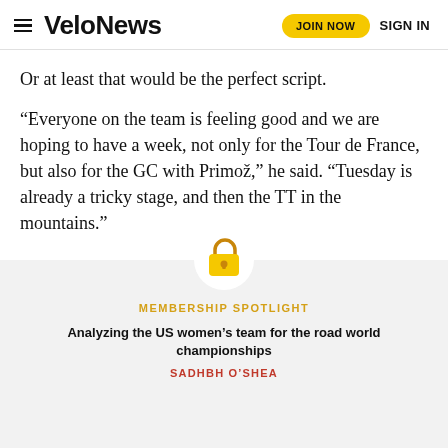VeloNews  JOIN NOW  SIGN IN
Or at least that would be the perfect script.
“Everyone on the team is feeling good and we are hoping to have a week, not only for the Tour de France, but also for the GC with Primož,” he said. “Tuesday is already a tricky stage, and then the TT in the mountains.”
[Figure (illustration): Gold padlock icon indicating paywalled content]
MEMBERSHIP SPOTLIGHT
Analyzing the US women’s team for the road world championships
SADHBH O’SHEA